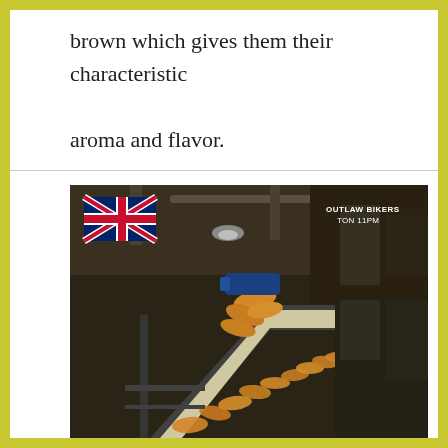brown which gives them their characteristic aroma and flavor.
[Figure (photo): Industrial food manufacturing facility showing chips/crisps being poured onto a conveyor belt. A UK flag (Union Jack) is visible in the upper left corner, and text reading 'OUTLAW BIKERS TON 11PM' appears in the upper right corner of the image.]